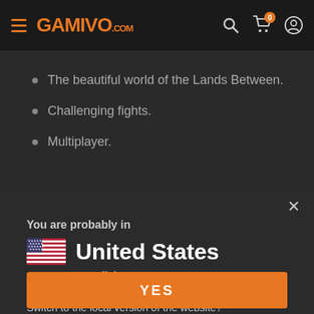GAMIVO.com
The beautiful world of the Lands Between.
Challenging fights.
Multiplayer.
You are probably in
United States
Language: English
Currency:
Switch to the local version of the website?
YES